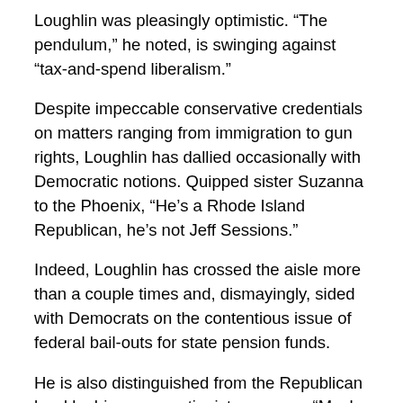Loughlin was pleasingly optimistic. “The pendulum,” he noted, is swinging against “tax-and-spend liberalism.”
Despite impeccable conservative credentials on matters ranging from immigration to gun rights, Loughlin has dallied occasionally with Democratic notions. Quipped sister Suzanna to the Phoenix, “He’s a Rhode Island Republican, he’s not Jeff Sessions.”
Indeed, Loughlin has crossed the aisle more than a couple times and, dismayingly, sided with Democrats on the contentious issue of federal bail-outs for state pension funds.
He is also distinguished from the Republican herd by his conservationist concerns: “Much needs to be done to ensure that the